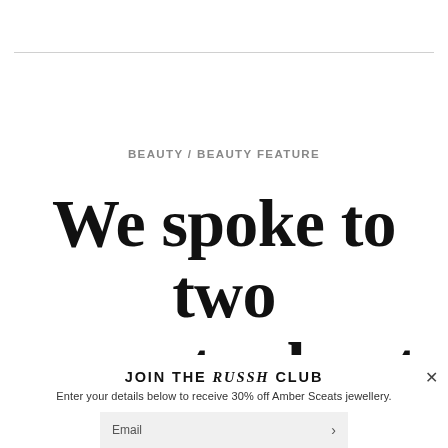BEAUTY / BEAUTY FEATURE
We spoke to two experts about
JOIN THE RUSSH CLUB
Enter your details below to receive 30% off Amber Sceats jewellery.
Email